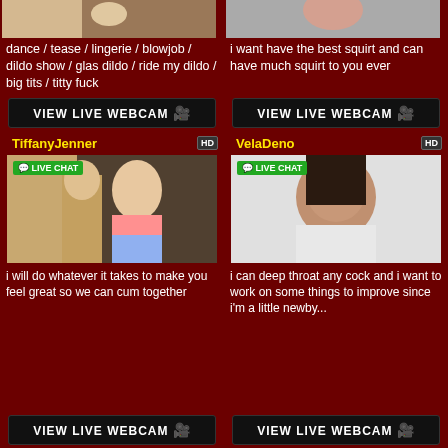[Figure (photo): Partial thumbnail image top left - cropped female figure]
[Figure (photo): Partial thumbnail image top right - cropped female figure]
dance / tease / lingerie / blowjob / dildo show / glas dildo / ride my dildo / big tits / titty fuck
i want have the best squirt and can have much squirt to you ever
[Figure (screenshot): VIEW LIVE WEBCAM button with webcam icon - left]
[Figure (screenshot): VIEW LIVE WEBCAM button with webcam icon - right]
TiffanyJenner
VelaDeno
[Figure (photo): TiffanyJenner live chat photo - blonde woman in pink top and denim shorts with LIVE CHAT badge]
[Figure (photo): VelaDeno live chat photo - young Asian woman with LIVE CHAT badge]
i will do whatever it takes to make you feel great so we can cum together
i can deep throat any cock and i want to work on some things to improve since i'm a little newby...
[Figure (screenshot): VIEW LIVE WEBCAM button with webcam icon - bottom left]
[Figure (screenshot): VIEW LIVE WEBCAM button with webcam icon - bottom right]